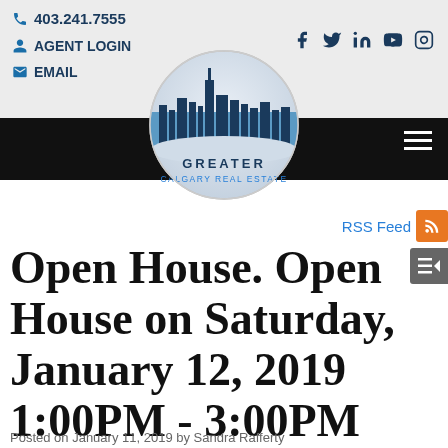403.241.7555 | AGENT LOGIN | EMAIL
[Figure (logo): Greater Calgary Real Estate circular logo with city skyline silhouette]
RSS Feed
Open House. Open House on Saturday, January 12, 2019 1:00PM - 3:00PM
Posted on January 11, 2019 by Sandra Rafferty